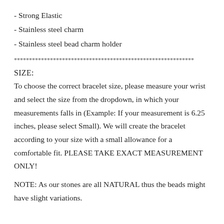- Strong Elastic
- Stainless steel charm
- Stainless steel bead charm holder
************************************************************
SIZE:
To choose the correct bracelet size, please measure your wrist and select the size from the dropdown, in which your measurements falls in (Example: If your measurement is 6.25 inches, please select Small). We will create the bracelet according to your size with a small allowance for a comfortable fit. PLEASE TAKE EXACT MEASUREMENT ONLY!
NOTE: As our stones are all NATURAL thus the beads might have slight variations.